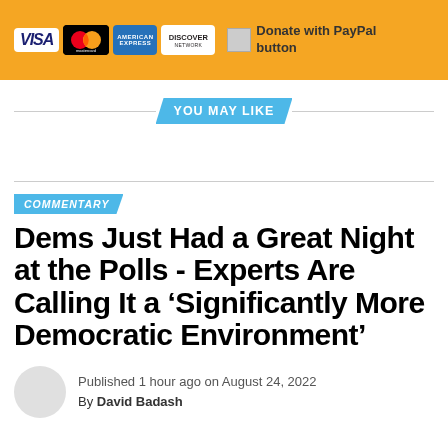[Figure (other): Donation banner with Visa, Mastercard, American Express, Discover card logos and a Donate with PayPal button on an orange/yellow background]
YOU MAY LIKE
COMMENTARY
Dems Just Had a Great Night at the Polls - Experts Are Calling It a ‘Significantly More Democratic Environment’
Published 1 hour ago on August 24, 2022
By David Badash